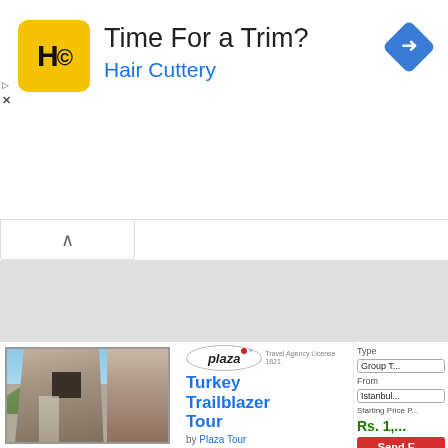[Figure (illustration): Hair Cuttery advertisement banner with yellow HC logo, 'Time For a Trim?' heading, 'Hair Cuttery' in blue, and a blue diamond navigation icon]
[Figure (photo): Ancient rocky cliff or stone structure in Turkey with blue sky and green vegetation, tour thumbnail image]
[Figure (logo): Plaza Tour oval logo with 'plaza' text and travel agency license text]
Turkey Trailblazer Tour
by Plaza Tour
15 Days | 9 Destinations | 1 Country (Turkey)
Istanbul (2N) | Bursa
Type  Group T...
From  Istanbul...
Starting Price P...
Rs. 1,...
Send E...